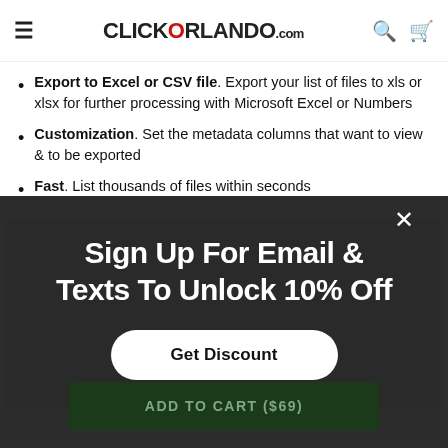CLICKORLANDO.com
Export to Excel or CSV file. Export your list of files to xls or xlsx for further processing with Microsoft Excel or Numbers
Customization. Set the metadata columns that want to view & to be exported
Fast. List thousands of files within seconds
[Figure (screenshot): Dark overlay popup modal with text 'Sign Up For Email & Texts To Unlock 10% Off' and a 'Get Discount' button, on top of a partially visible product page with an 'ADD TO CART ($69)' button.]